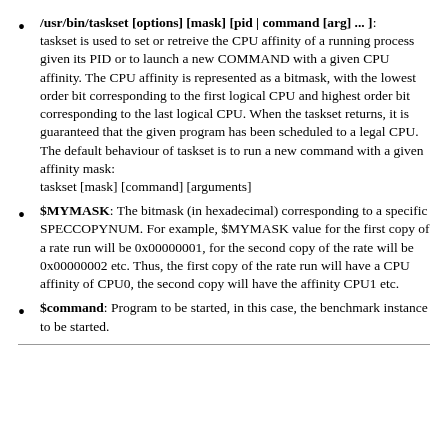/usr/bin/taskset [options] [mask] [pid | command [arg] ... ]: taskset is used to set or retreive the CPU affinity of a running process given its PID or to launch a new COMMAND with a given CPU affinity. The CPU affinity is represented as a bitmask, with the lowest order bit corresponding to the first logical CPU and highest order bit corresponding to the last logical CPU. When the taskset returns, it is guaranteed that the given program has been scheduled to a legal CPU. The default behaviour of taskset is to run a new command with a given affinity mask: taskset [mask] [command] [arguments]
$MYMASK: The bitmask (in hexadecimal) corresponding to a specific SPECCOPYNUM. For example, $MYMASK value for the first copy of a rate run will be 0x00000001, for the second copy of the rate will be 0x00000002 etc. Thus, the first copy of the rate run will have a CPU affinity of CPU0, the second copy will have the affinity CPU1 etc.
$command: Program to be started, in this case, the benchmark instance to be started.